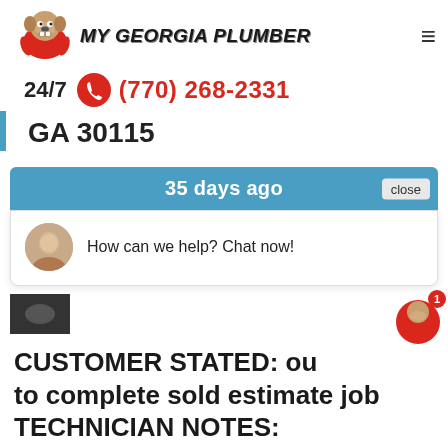MY GEORGIA PLUMBER
24/7  (770) 268-2331
GA 30115
35 days ago
How can we help? Chat now!
CUSTOMER STATED: ou to complete sold estimate job
TECHNICIAN NOTES: